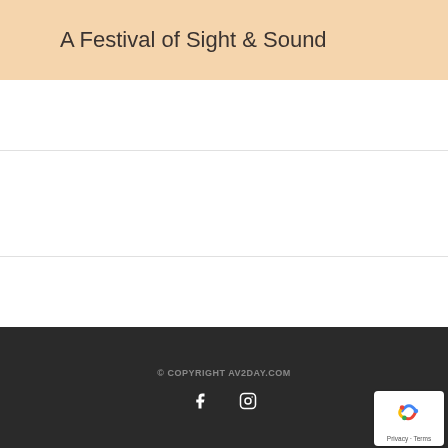A Festival of Sight & Sound
© COPYRIGHT AV2DAY.COM